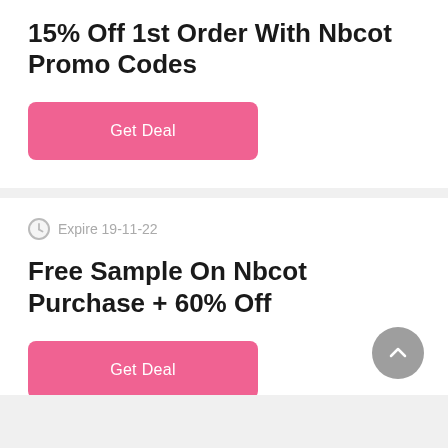15% Off 1st Order With Nbcot Promo Codes
Get Deal
Expire 19-11-22
Free Sample On Nbcot Purchase + 60% Off
Get Deal